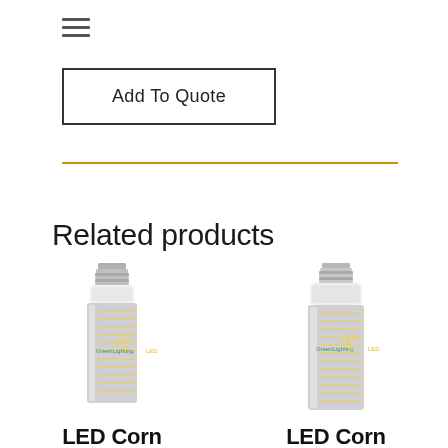≡
Add To Quote
Related products
[Figure (photo): LED Corn Bulb product photo - left bulb, silver/chrome cylindrical body with white top and threaded metal base]
LED Corn
Bulb 45...
[Figure (photo): LED Corn Bulb product photo - right bulb, silver/chrome cylindrical body with white top and threaded metal base, taller]
LED Corn
Bulb 36...